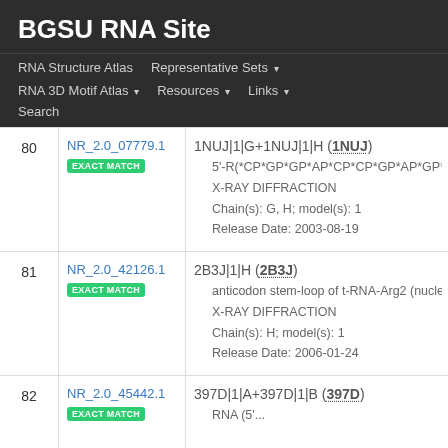BGSU RNA Site
RNA Structure Atlas | Representative Sets ▾ | RNA 3D Motif Atlas ▾ | Resources ▾ | Links ▾ | Search
| # | ID | Details |
| --- | --- | --- |
| 80 | NR_2.0_07779.1 EXACT MATCH | 1NUJ|1|G+1NUJ|1|H (1NUJ)
• 5'-R(*CP*GP*GP*AP*CP*CP*GP*AP*GP*CP*C...
• X-RAY DIFFRACTION
• Chain(s): G, H; model(s): 1
• Release Date: 2003-08-19 |
| 81 | NR_2.0_42126.1 EXACT MATCH | 2B3J|1|H (2B3J)
• anticodon stem-loop of t-RNA-Arg2 (nucle[...]
• X-RAY DIFFRACTION
• Chain(s): H; model(s): 1
• Release Date: 2006-01-24 |
| 82 | NR_2.0_45442.1 EXACT MATCH | 397D|1|A+397D|1|B (397D)
• RNA (5'... |